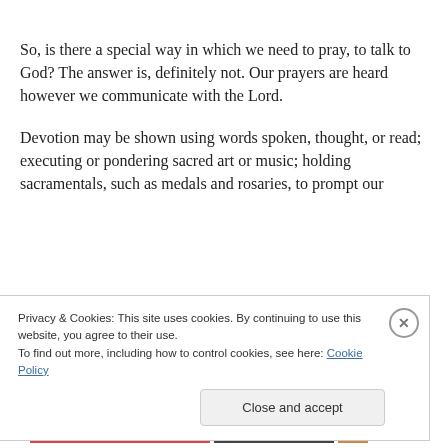So, is there a special way in which we need to pray, to talk to God? The answer is, definitely not. Our prayers are heard however we communicate with the Lord.
Devotion may be shown using words spoken, thought, or read; executing or pondering sacred art or music; holding sacramentals, such as medals and rosaries, to prompt our
Privacy & Cookies: This site uses cookies. By continuing to use this website, you agree to their use.
To find out more, including how to control cookies, see here: Cookie Policy